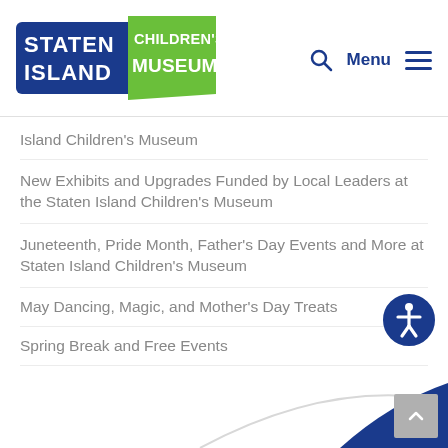[Figure (logo): Staten Island Children's Museum logo with blue text 'STATEN ISLAND' and green banner 'CHILDREN'S MUSEUM']
Island Children's Museum
New Exhibits and Upgrades Funded by Local Leaders at the Staten Island Children's Museum
Juneteenth, Pride Month, Father's Day Events and More at Staten Island Children's Museum
May Dancing, Magic, and Mother's Day Treats
Spring Break and Free Events
[Figure (illustration): Accessibility icon: white person figure in circle with dark blue border]
[Figure (illustration): Decorative blue graphic element at bottom right corner of page]